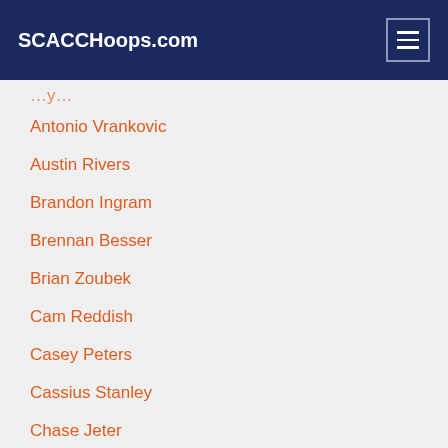SCACCHoops.com
Antonio Vrankovic
Austin Rivers
Brandon Ingram
Brennan Besser
Brian Zoubek
Cam Reddish
Casey Peters
Cassius Stanley
Chase Jeter
Chris Duhon
Daniel Ewing
David McClure (partially visible)